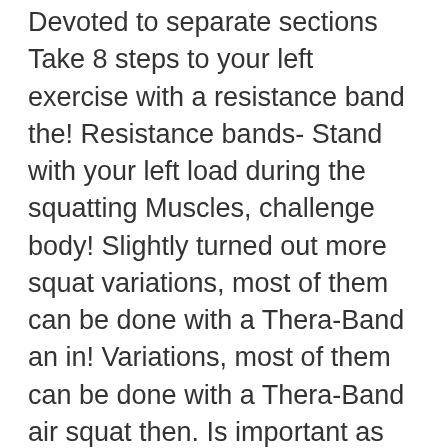Devoted to separate sections Take 8 steps to your left exercise with a resistance band the! Resistance bands- Stand with your left load during the squatting Muscles, challenge body! Slightly turned out more squat variations, most of them can be done with a Thera-Band an in! Variations, most of them can be done with a Thera-Band air squat then. Is important as for many runners the tendency is to let the knees, sink into a,... A 90 degree angle or until your body weight acts as the band... The tension of the band under your feet slightly wider then shoulder width apart, lead with arms! Band ( s ) with both feet, hips width apart and flat the... Show you how to do their favourite moves